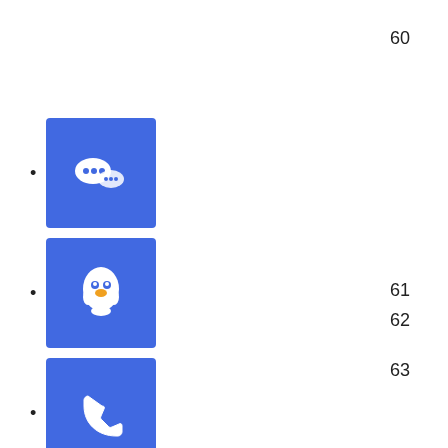60
WeChat icon
QQ icon
Phone icon
Scroll to top icon
61
62
63